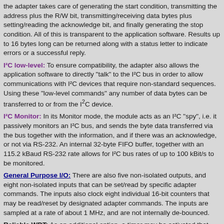the adapter takes care of generating the start condition, transmitting the address plus the R/W bit, transmitting/receiving data bytes plus setting/reading the acknowledge bit, and finally generating the stop condition. All of this is transparent to the application software. Results up to 16 bytes long can be returned along with a status letter to indicate errors or a successful reply.
I²C low-level: To ensure compatibility, the adapter also allows the application software to directly "talk" to the I²C bus in order to allow communications with I²C devices that require non-standard sequences. Using these "low-level commands" any number of data bytes can be transferred to or from the I²C device.
I²C Monitor: In its Monitor mode, the module acts as an I²C "spy", i.e. it passively monitors an I²C bus, and sends the byte data transferred via the bus together with the information, and if there was an acknowledge, or not via RS-232. An internal 32-byte FIFO buffer, together with an 115.2 kBaud RS-232 rate allows for I²C bus rates of up to 100 kBit/s to be monitored.
General Purpose I/O: There are also five non-isolated outputs, and eight non-isolated inputs that can be set/read by specific adapter commands. The inputs also clock eight individual 16-bit counters that may be read/reset by designated adapter commands. The inputs are sampled at a rate of about 1 MHz, and are not internally de-bounced.
Reliable WDT: As an additional option, a timer may be activated that resets the I²C-Adapter when new commands are not received within the specified time-out period.